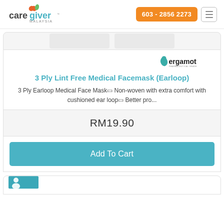[Figure (logo): CareGiver Malaysia logo with orange and green heart icons]
603 - 2856 2273
[Figure (logo): Bergamot brand logo in teal and black]
3 Ply Lint Free Medical Facemask (Earloop)
3 Ply Earloop Medical Face Mask. Non-woven with extra comfort with cushioned ear loop. Better pro...
RM19.90
Add To Cart